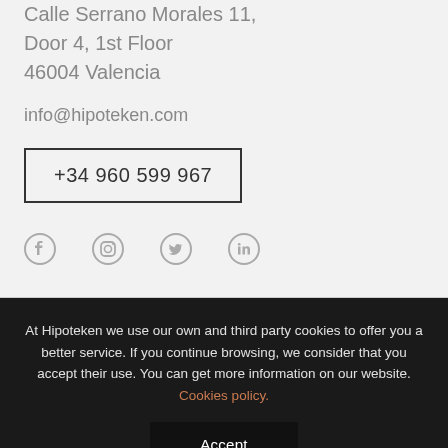Calle Serrano Morales 11, Door 4, 1st Floor 46004 Valencia
info@hipoteken.com
+34 960 599 967
[Figure (infographic): Social media icons: Facebook, Instagram, Twitter, LinkedIn]
At Hipoteken we use our own and third party cookies to offer you a better service. If you continue browsing, we consider that you accept their use. You can get more information on our website. Cookies policy.
Accept